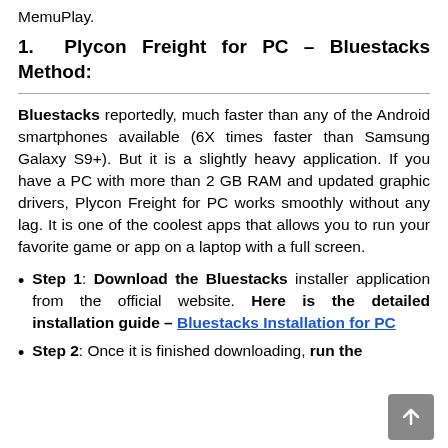MemuPlay.
1. Plycon Freight for PC – Bluestacks Method:
Bluestacks reportedly, much faster than any of the Android smartphones available (6X times faster than Samsung Galaxy S9+). But it is a slightly heavy application. If you have a PC with more than 2 GB RAM and updated graphic drivers, Plycon Freight for PC works smoothly without any lag. It is one of the coolest apps that allows you to run your favorite game or app on a laptop with a full screen.
Step 1: Download the Bluestacks installer application from the official website. Here is the detailed installation guide – Bluestacks Installation for PC
Step 2: Once it is finished downloading, run the